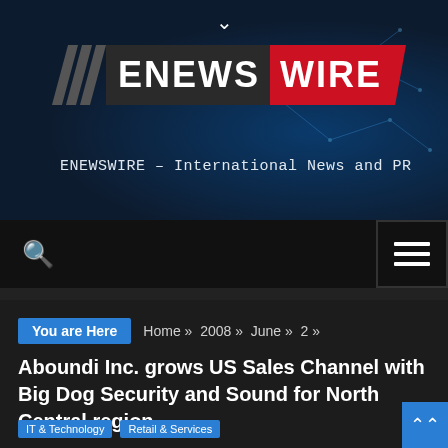[Figure (logo): ENEWSWIRE logo with diagonal slash marks, dark background left panel and red right panel, tagline reading ENEWSWIRE – International News and PR]
ENEWSWIRE – International News and PR
You are Here  Home »  2008 »  June »  2 »
Aboundi Inc. grows US Sales Channel with Big Dog Security and Sound for North Central region
IT & Technology  Retail & Services